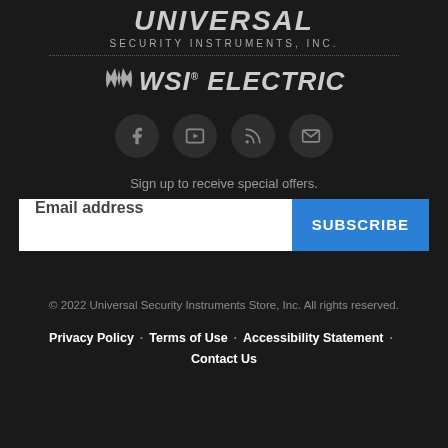[Figure (logo): Universal Security Instruments, Inc. logo with italic bold text and WSI Electric logo below a dotted divider]
[Figure (infographic): Four circular social media icons: Facebook (f), Video/Play button, RSS feed, and Email/envelope on dark circle backgrounds]
Sign up to receive special offers.
[Figure (screenshot): Email address input field with placeholder text 'Email address' and a blue SUBSCRIBE button]
© 2022 Universal Security Instruments Store, Inc. All rights reserved.
Privacy Policy · Terms of Use · Accessibility Statement · Contact Us